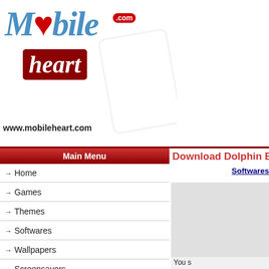[Figure (logo): MobileHeart.com logo with stylized text and heart, www.mobileheart.com URL below]
Main Menu
Home
Games
Themes
Softwares
Wallpapers
Screensavers
Compare Phones
Phone Reviews
Nokia
Sony Ericsson
BlackBerry
Samsung
Motorola
LG
HTC
Apple
Palm
Download Dolphin Browser HD
Softwares
You s